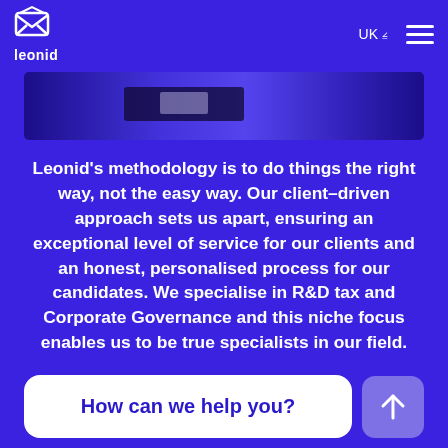leonid | UK ☰
[Figure (photo): Partial image strip showing a purple/blue gradient background with a dark rectangular element in the center, consistent with a website hero image cropped at top]
Leonid's methodology is to do things the right way, not the easy way. Our client–driven approach sets us apart, ensuring an exceptional level of service for our clients and an honest, personalised process for our candidates. We specialise in R&D tax and Corporate Governance and this niche focus enables us to be true specialists in our field.
How can we help you?